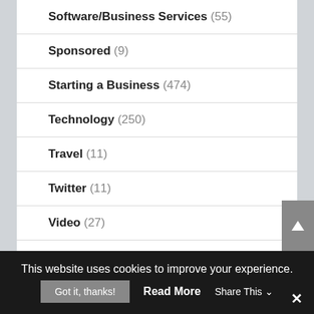Software/Business Services (55)
Sponsored (9)
Starting a Business (474)
Technology (250)
Travel (11)
Twitter (11)
Video (27)
This website uses cookies to improve your experience.
Got it, thanks! Read More Share This ✕